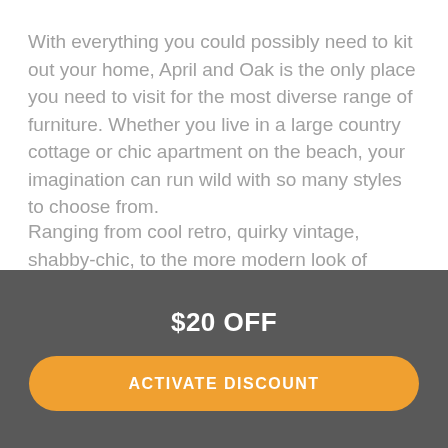With everything you could possibly need to kit out your home, April and Oak is the only place you need to visit for the most diverse range of furniture. Whether you live in a large country cottage or chic apartment on the beach, your imagination can run wild with so many styles to choose from.
Ranging from cool retro, quirky vintage, shabby-chic, to the more modern look of industrial, Hamptons style and modern European, there is a huge range of indoor and outdoor furniture to satisfy all different personalities.
Design a Sanctuary That Is Comfortable
$20 OFF
ACTIVATE DISCOUNT